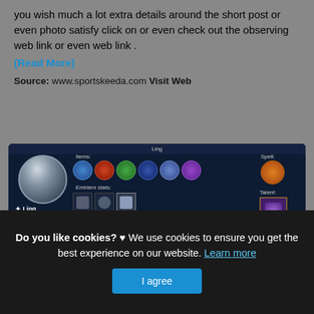you wish much a lot extra details around the short post or even photo satisfy click on or even check out the observing web link or even web link .
(Read More)
Source: www.sportskeeda.com Visit Web
[Figure (screenshot): Mobile Legends game screenshot showing Ling hero stats: items, emblem stats, spell, and talent. Hero rank S+.]
Mobile Legends Tier List 2022 Best Mobile Legends
Do you like cookies? ♥ We use cookies to ensure you get the best experience on our website. Learn more
I agree